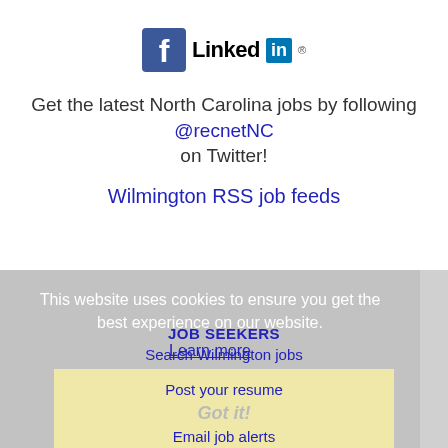[Figure (logo): Facebook and LinkedIn logos side by side]
Get the latest North Carolina jobs by following @recnetNC on Twitter!
Wilmington RSS job feeds
This website uses cookies to ensure you get the best experience on our website.
Learn more
JOB SEEKERS
Search Wilmington jobs
Post your resume
Got it!
Email job alerts
Register / Log in